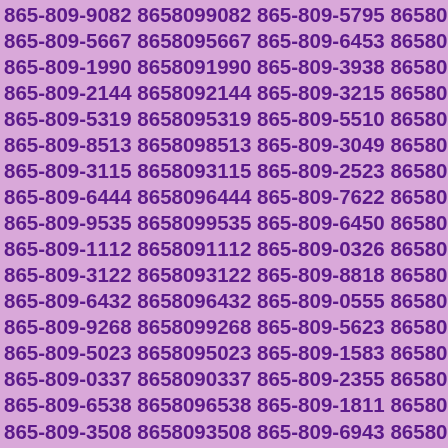865-809-9082 8658099082 865-809-5795 8658095795 865-809-5667 8658095667 865-809-6453 8658096453 865-809-1990 8658091990 865-809-3938 8658093938 865-809-2144 8658092144 865-809-3215 8658093215 865-809-5319 8658095319 865-809-5510 8658095510 865-809-8513 8658098513 865-809-3049 8658093049 865-809-3115 8658093115 865-809-2523 8658092523 865-809-6444 8658096444 865-809-7622 8658097622 865-809-9535 8658099535 865-809-6450 8658096450 865-809-1112 8658091112 865-809-0326 8658090326 865-809-3122 8658093122 865-809-8818 8658098818 865-809-6432 8658096432 865-809-0555 8658090555 865-809-9268 8658099268 865-809-5623 8658095623 865-809-5023 8658095023 865-809-1583 8658091583 865-809-0337 8658090337 865-809-2355 8658092355 865-809-6538 8658096538 865-809-1811 8658091811 865-809-3508 8658093508 865-809-6943 8658096943 865-809-0130 8658090130 865-809-4214 8658094214 865-809-5991 8658095991 865-809-8183 8658098183 865-809-9570 8658099570 865-809-6039 8658096039 865-809-9632 8658099632 865-809-3060 8658093060